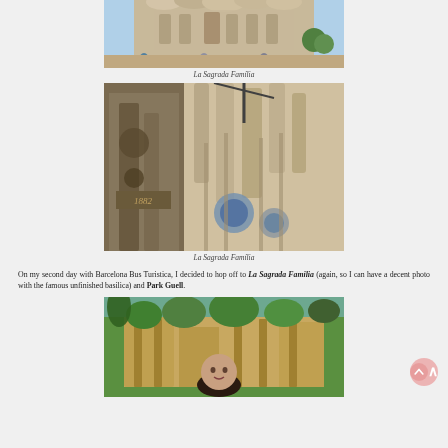[Figure (photo): Top partial photo of La Sagrada Familia exterior with tourists in front, ornate facade visible]
La Sagrada Família
[Figure (photo): Upward-angle photo of La Sagrada Familia towers against blue sky, stone details and ornamental facade visible]
La Sagrada Família
On my second day with Barcelona Bus Turistica, I decided to hop off to La Sagrada Familia (again, so I can have a decent photo with the famous unfinished basilica) and Park Guell.
[Figure (photo): Photo of Park Guell stone architecture with lush greenery, person visible in foreground]